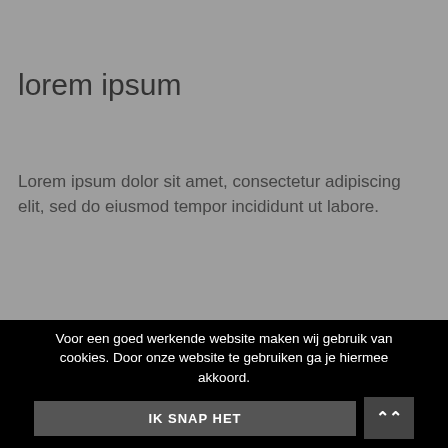lorem ipsum
Lorem ipsum dolor sit amet, consectetur adipiscing elit, sed do eiusmod tempor incididunt ut labore.
get started
Voor een goed werkende website maken wij gebruik van cookies. Door onze website te gebruiken ga je hiermee akkoord.
IK SNAP HET